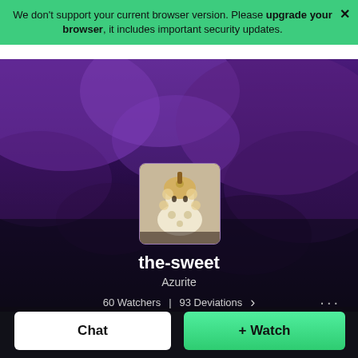We don't support your current browser version. Please upgrade your browser, it includes important security updates.
[Figure (screenshot): DeviantArt user profile page for 'the-sweet' with purple smoke banner background, avatar image, username, Azurite rank, watcher/deviation counts, Chat and Watch buttons, and HOME/GALLERY/FAVOURITES/POSTS navigation tabs]
the-sweet
Azurite
60 Watchers  |  93 Deviations
Chat
+ Watch
HOME  GALLERY  FAVOURITES  POSTS